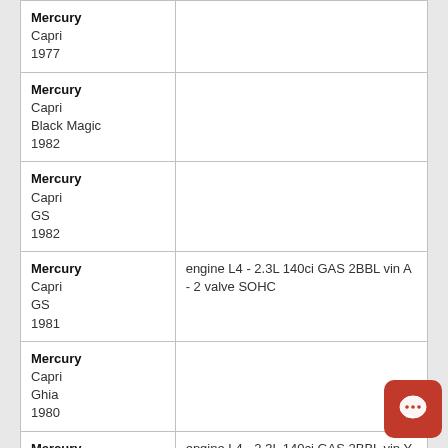| Make/Model/Year | Engine Info |
| --- | --- |
| Mercury
Capri
Black Magic
1982 |  |
| Mercury
Capri
GS
1982 |  |
| Mercury
Capri
GS
1981 | engine L4 - 2.3L 140ci GAS 2BBL vin A - 2 valve SOHC |
| Mercury
Capri
Ghia
1980 |  |
| Mercury
Capri
Ghia
1979 | engine L4 - 2.3L 140ci GAS 2BBL vin Y - 2 valve SOHC
engine V6 - 2.8L 171ci GAS 2BBL vin Z - 2 valve OHV |
| Mercury
... |  |